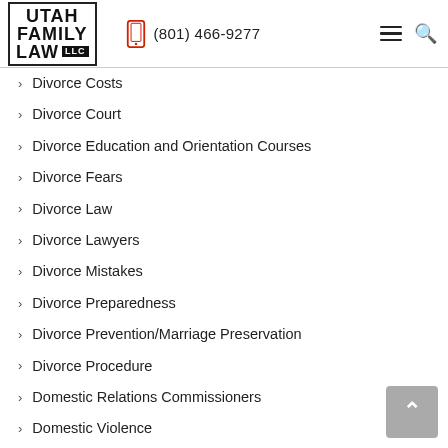Utah Family Law LLC | (801) 466-9277
Divorce Costs
Divorce Court
Divorce Education and Orientation Courses
Divorce Fears
Divorce Law
Divorce Lawyers
Divorce Mistakes
Divorce Preparedness
Divorce Prevention/Marriage Preservation
Divorce Procedure
Domestic Relations Commissioners
Domestic Violence
Education
Emotional abuse
Equitable Interest